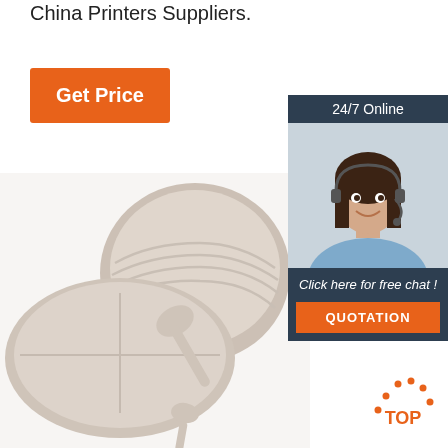China Printers Suppliers.
[Figure (other): Orange 'Get Price' button]
[Figure (other): 24/7 Online chat widget with female agent photo, 'Click here for free chat!' text, and orange QUOTATION button]
[Figure (photo): Product photo of beige/taupe silicone baby feeding set including divided plate, bowl, and spoon on white background]
[Figure (other): TOP badge/icon in orange and dark color at bottom right]